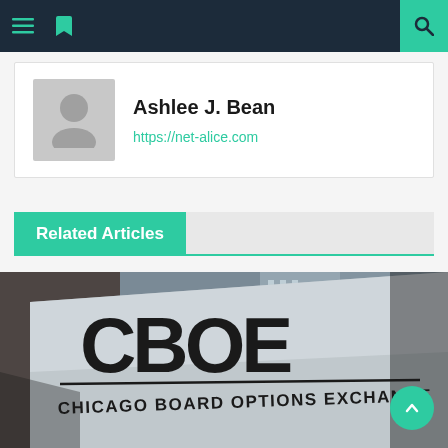Navigation bar with menu and search icons
Ashlee J. Bean
https://net-alice.com
Related Articles
[Figure (photo): CBOE Chicago Board Options Exchange sign — a large metallic sign with 'CBOE' in bold letters and 'CHICAGO BOARD OPTIONS EXCHANGE' below, photographed at an upward angle with buildings in the background]